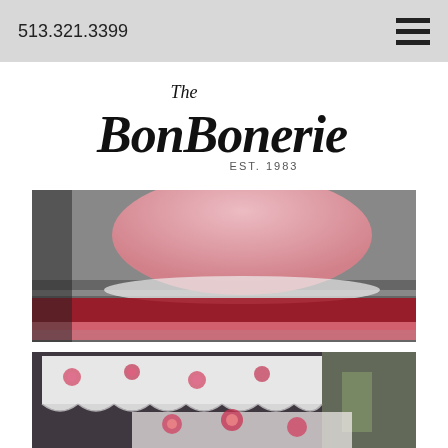513.321.3399
[Figure (logo): The BonBonerie EST. 1983 script logo]
[Figure (photo): Photo of pink and red ruffled fabric/skirt displayed outdoors on a table]
[Figure (photo): Photo of floral patterned fabric/valance with roses, displayed outdoors]